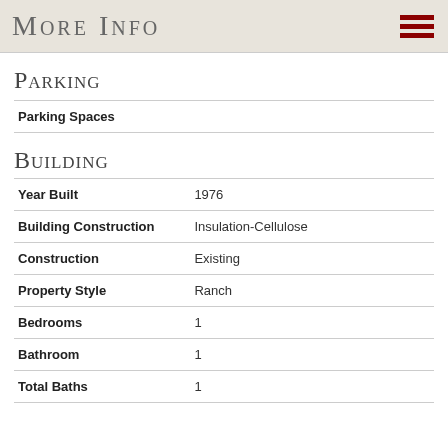More Info
Parking
| Field | Value |
| --- | --- |
| Parking Spaces |  |
Building
| Field | Value |
| --- | --- |
| Year Built | 1976 |
| Building Construction | Insulation-Cellulose |
| Construction | Existing |
| Property Style | Ranch |
| Bedrooms | 1 |
| Bathroom | 1 |
| Total Baths | 1 |